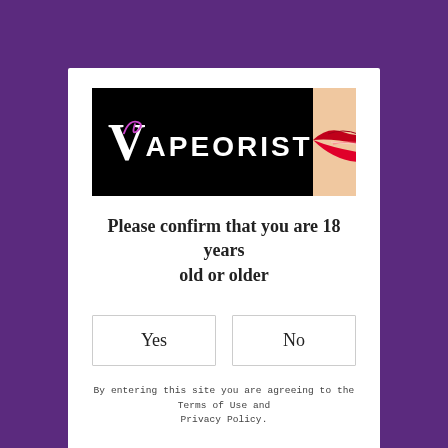[Figure (logo): Vapeorist logo: black banner with stylized V and purple smoke curl, text VAPEORIST in white, red lips on right side]
Please confirm that you are 18 years old or older
Yes
No
By entering this site you are agreeing to the Terms of Use and Privacy Policy.